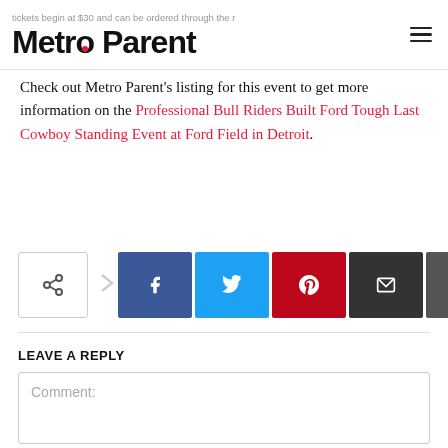tickets begin at $30 and can be ordered through the … Metro Parent
Check out Metro Parent's listing for this event to get more information on the Professional Bull Riders Built Ford Tough Last Cowboy Standing Event at Ford Field in Detroit.
[Figure (infographic): Social share buttons row: share icon, arrow, Facebook (blue), Twitter (cyan), Pinterest (red), Email (black), Print (dark gray)]
LEAVE A REPLY
Comment: